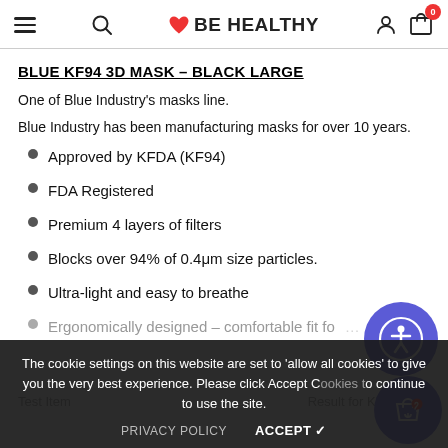BE HEALTHY (navigation header with hamburger, search, logo, user, cart icons)
BLUE KF94 3D MASK – BLACK LARGE
One of Blue Industry's masks line.
Blue Industry has been manufacturing masks for over 10 years.
Approved by KFDA (KF94)
FDA Registered
Premium 4 layers of filters
Blocks over 94% of 0.4μm size particles.
Ultra-light and easy to breathe
Ergonomically designed – comfortable fit fo…
[Figure (other): Accessibility icon button (person in circle) - purple circular button]
[Figure (other): Shopping bag with heart icon - purple circular button]
The cookie settings on this website are set to 'allow all cookies' to give you the very best experience. Please click Accept Cookies to continue to use the site.
PRIVACY POLICY    ACCEPT ✓
Test Item    Result for KF94